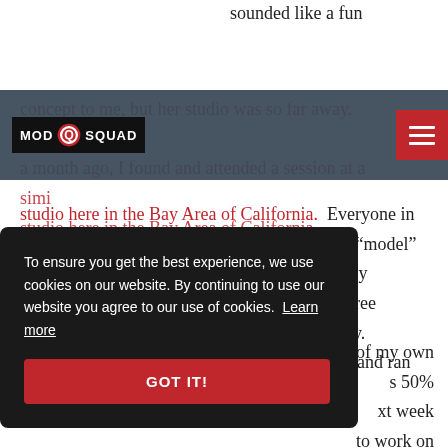sounded like a fun
concept to me, but her studio was so far away. About a month ago, I found and attended a session at a similar studio here in the Bay Area of California.  Everyone in the class was encouraged to work on a similar “model” painting, under the tutelage of a local artist.  My evening’s model-painting looked like a black tree coming out of a pack of melted Starburst candy.  Basically, I wasn’t a fan.  So, I went rogue — and ran ... e of my own ... s 50% ... xt week ... to work on ... n’t stop at
[Figure (logo): ModSquad logo with red circle Q graphic and white text on dark background, with red hamburger menu button on the right]
To ensure you get the best experience, we use cookies on our website. By continuing to use our website you agree to our use of cookies. Learn more
GOT IT!